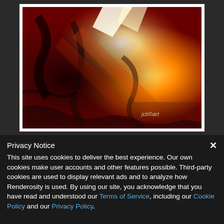[Figure (illustration): Abstract digital painting with dramatic red, orange, and dark tones depicting a figure with wings or flowing elements, signed 'jcb@art' in the lower right corner. The painting is presented in a white polaroid-style frame against a dark gray background.]
Privacy Notice
This site uses cookies to deliver the best experience. Our own cookies make user accounts and other features possible. Third-party cookies are used to display relevant ads and to analyze how Renderosity is used. By using our site, you acknowledge that you have read and understood our Terms of Service, including our Cookie Policy and our Privacy Policy.